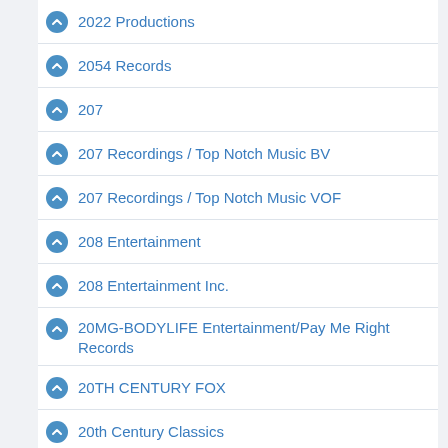2022 Productions
2054 Records
207
207 Recordings / Top Notch Music BV
207 Recordings / Top Notch Music VOF
208 Entertainment
208 Entertainment Inc.
20MG-BODYLIFE Entertainment/Pay Me Right Records
20TH CENTURY FOX
20th Century Classics